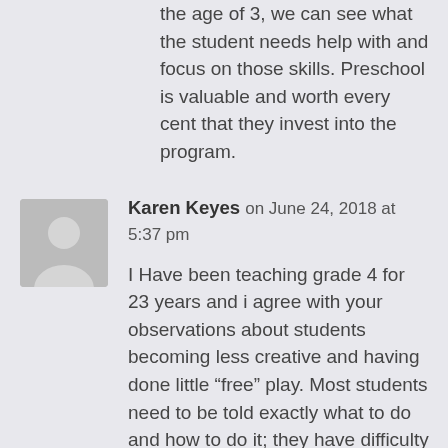the age of 3, we can see what the student needs help with and focus on those skills. Preschool is valuable and worth every cent that they invest into the program.
Karen Keyes on June 24, 2018 at 5:37 pm
I Have been teaching grade 4 for 23 years and i agree with your observations about students becoming less creative and having done little “free” play. Most students need to be told exactly what to do and how to do it; they have difficulty thinking of